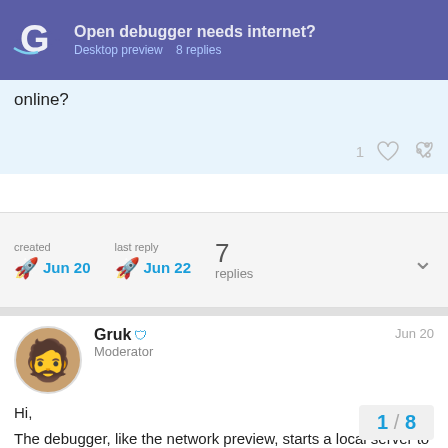Open debugger needs internet? | Desktop preview | 8 replies
online?
1 ♡ 🔗
created Jun 20  last reply Jun 22  7 replies
Gruk 🛡 Moderator  Jun 20
Hi,
The debugger, like the network preview, starts a local server to run the preview on.
If you have an active network, even if you're not connected to the Web, I think it should work.
1 / 8